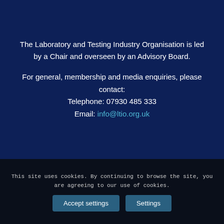The Laboratory and Testing Industry Organisation is led by a Chair and overseen by an Advisory Board.
For general, membership and media enquiries, please contact:
Telephone: 07930 485 333
Email: info@ltio.org.uk
This site uses cookies. By continuing to browse the site, you are agreeing to our use of cookies.